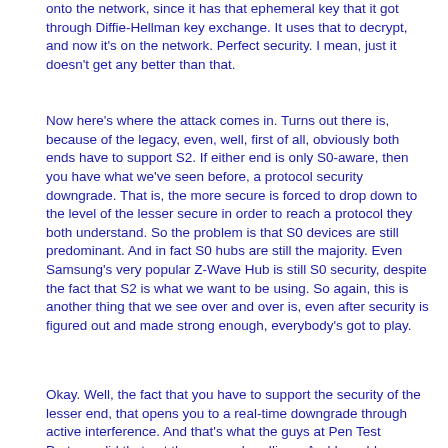onto the network, since it has that ephemeral key that it got through Diffie-Hellman key exchange. It uses that to decrypt, and now it's on the network. Perfect security. I mean, just it doesn't get any better than that.
Now here's where the attack comes in. Turns out there is, because of the legacy, even, well, first of all, obviously both ends have to support S2. If either end is only S0-aware, then you have what we've seen before, a protocol security downgrade. That is, the more secure is forced to drop down to the level of the lesser secure in order to reach a protocol they both understand. So the problem is that S0 devices are still predominant. And in fact S0 hubs are still the majority. Even Samsung's very popular Z-Wave Hub is still S0 security, despite the fact that S2 is what we want to be using. So again, this is another thing that we see over and over is, even after security is figured out and made strong enough, everybody's got to play.
Okay. Well, the fact that you have to support the security of the lesser end, that opens you to a real-time downgrade through active interference. And that's what the guys at Pen Test Partners did that got them some headlines. And I would argue okay, yes, it's true. If, at the moment of two S2 devices pairing, you shot out a little bit of active noise, now you can't be passive anymore. You've got to actively interfere with the communications in RF spectrum between the devices in order to intercept and force them to believe that each other is S0. So it's high speed. They couldn't even pull it off without generating some custom tools that could respond quickly enough. So it's sort of even still theoretical, although they were able to demonstrate it in sort of one class of this attack.
So again, it's a bit of a tempest in a teapot. It's just not a huge